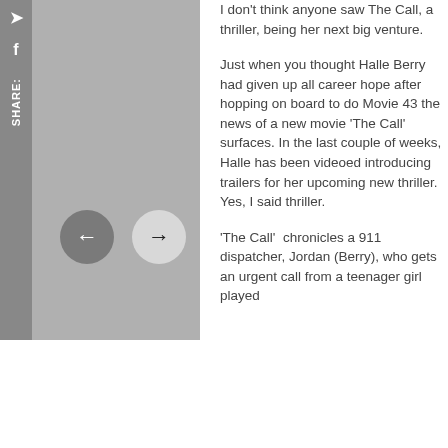[Figure (other): Gray left panel with social share icons (quote and Facebook) on a dark sidebar, and navigation arrows (back/forward) as circular buttons on the gray background.]
I don't think anyone saw The Call, a thriller, being her next big venture.
Just when you thought Halle Berry had given up all career hope after hopping on board to do Movie 43 the news of a new movie ‘The Call’ surfaces. In the last couple of weeks, Halle has been videoed introducing trailers for her upcoming new thriller. Yes, I said thriller.
‘The Call’  chronicles a 911 dispatcher, Jordan (Berry), who gets an urgent call from a teenager girl played